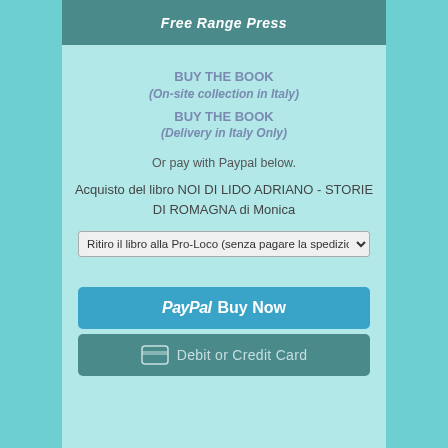Free Range Press
BUY THE BOOK
(On-site collection in Italy)
BUY THE BOOK
(Delivery in Italy Only)
Or pay with Paypal below.
Acquisto del libro NOI DI LIDO ADRIANO - STORIE DI ROMAGNA di Monica
Ritiro il libro alla Pro-Loco (senza pagare la spedizione
[Figure (screenshot): PayPal Buy Now button in teal/blue color]
[Figure (screenshot): Debit or Credit Card button in dark teal color with card icon]